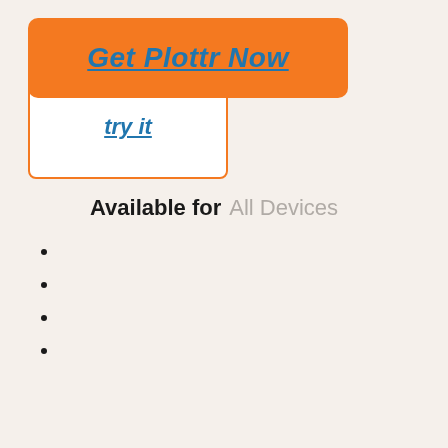[Figure (screenshot): Orange banner button with text 'Get Plottr Now' as a blue underlined italic bold link]
[Figure (screenshot): White box with orange border containing blue underlined italic bold text 'try it']
Available for  All Devices